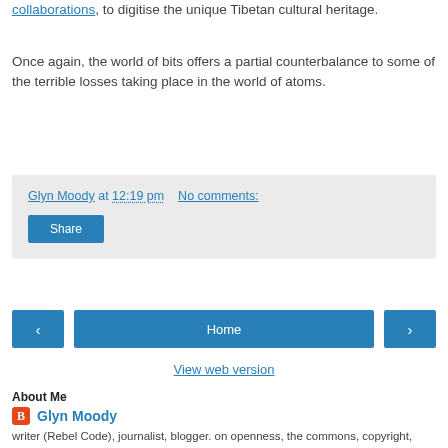collaborations, to digitise the unique Tibetan cultural heritage.
Once again, the world of bits offers a partial counterbalance to some of the terrible losses taking place in the world of atoms.
Glyn Moody at 12:19 pm   No comments:
Share
Home
View web version
About Me
Glyn Moody
writer (Rebel Code), journalist, blogger. on openness, the commons, copyright, patents and digital rights. email: glyn.moody@gmail.com; PGP: E4962A75